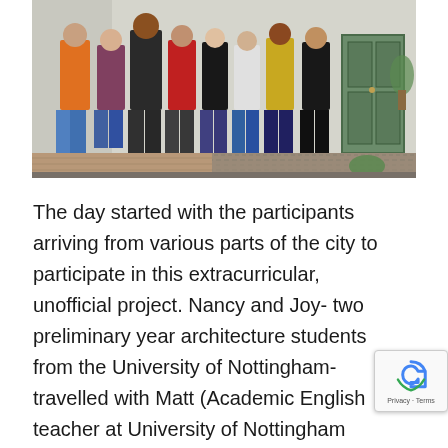[Figure (photo): Group of approximately 8 people standing in front of a light-colored wall with a green door on the right side. They are standing on a patterned ground/doorstep area. The photo appears to be taken outdoors in an urban setting.]
The day started with the participants arriving from various parts of the city to participate in this extracurricular, unofficial project. Nancy and Joy- two preliminary year architecture students from the University of Nottingham- travelled with Matt (Academic English teacher at University of Nottingham Ningbo China) and Mia (part time lecturer in both universities, Ningbo University and Nottingham) and we met up with Francy, Patric Romance (Ningbo University architecture stud year 4) at Xin Yi Yuan tea house. The first order of